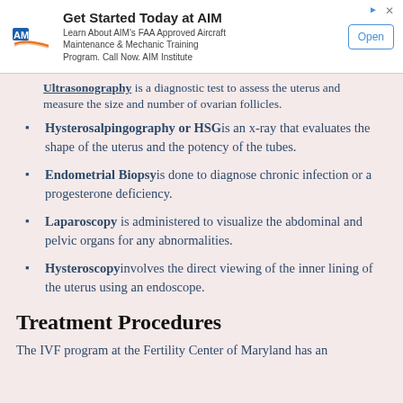[Figure (other): Advertisement banner for AIM Institute: 'Get Started Today at AIM - Learn About AIM's FAA Approved Aircraft Maintenance & Mechanic Training Program. Call Now. AIM Institute' with Open button]
Ultrasonography is a diagnostic test to assess the uterus and measure the size and number of ovarian follicles.
Hysterosalpingography or HSG is an x-ray that evaluates the shape of the uterus and the potency of the tubes.
Endometrial Biopsy is done to diagnose chronic infection or a progesterone deficiency.
Laparoscopy is administered to visualize the abdominal and pelvic organs for any abnormalities.
Hysteroscopy involves the direct viewing of the inner lining of the uterus using an endoscope.
Treatment Procedures
The IVF program at the Fertility Center of Maryland has an